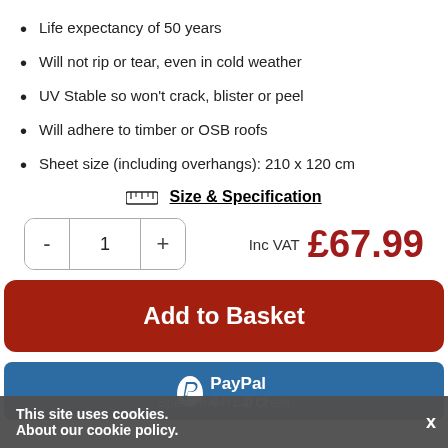Life expectancy of 50 years
Will not rip or tear, even in cold weather
UV Stable so won't crack, blister or peel
Will adhere to timber or OSB roofs
Sheet size (including overhangs): 210 x 120 cm
📏 Size & Specification
- 1 +  Inc VAT £67.99
Add to Basket
[Figure (logo): PayPal Credit logo on blue bar]
This site uses cookies. About our cookie policy.
Spend over... al Credit